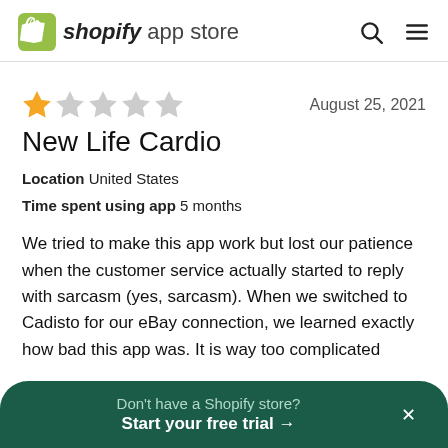shopify app store
★☆☆☆☆   August 25, 2021
New Life Cardio
Location  United States
Time spent using app  5 months
We tried to make this app work but lost our patience when the customer service actually started to reply with sarcasm (yes, sarcasm). When we switched to Cadisto for our eBay connection, we learned exactly how bad this app was. It is way too complicated
Don't have a Shopify store? Start your free trial →